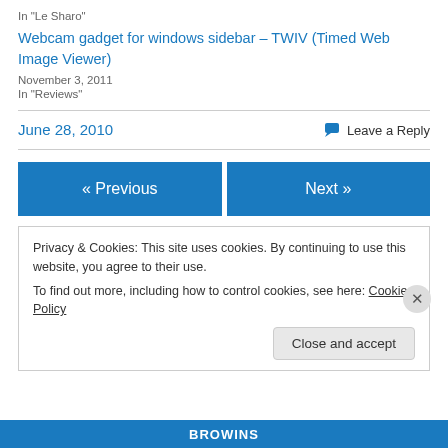In "Le Sharo"
Webcam gadget for windows sidebar – TWIV (Timed Web Image Viewer)
November 3, 2011
In "Reviews"
June 28, 2010
Leave a Reply
« Previous
Next »
Privacy & Cookies: This site uses cookies. By continuing to use this website, you agree to their use.
To find out more, including how to control cookies, see here: Cookie Policy
Close and accept